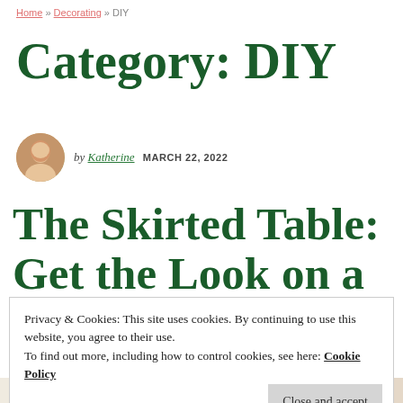Home » Decorating » DIY
Category: DIY
by Katherine  MARCH 22, 2022
The Skirted Table: Get the Look on a
Privacy & Cookies: This site uses cookies. By continuing to use this website, you agree to their use.
To find out more, including how to control cookies, see here: Cookie Policy
Close and accept
table on a